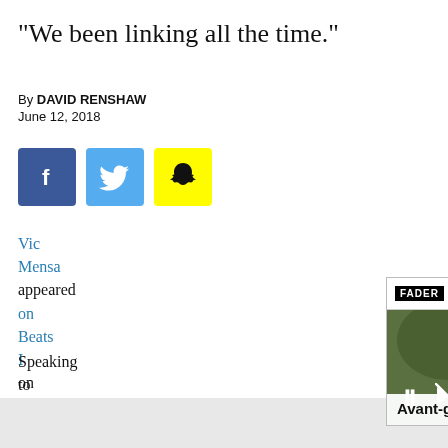“We been linking all the time.”
By DAVID RENSHAW
June 12, 2018
[Figure (infographic): Social share buttons: Facebook (blue), Twitter (light blue), Snapchat (yellow)]
Vic Mensa appeared on Beats I on Monday, telling host Ebro Darden with Chance The
Speaking to Darde Chance had fallen through a lot of sh fight, that’s really
[Figure (screenshot): FADER Top Articles widget overlay showing a photo of a woman holding a trumpet outdoors, with media controls (pause, mute, next arrow) and caption: Avant-garde trumpeter Jaimie branch dies at 39]